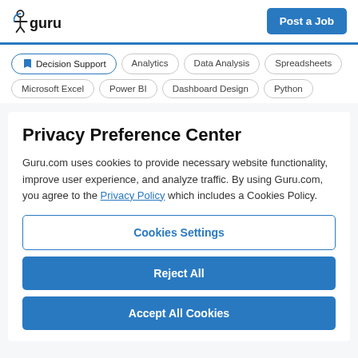guru | Post a Job
Decision Support | Analytics | Data Analysis | Spreadsheets | Microsoft Excel | Power BI | Dashboard Design | Python
Privacy Preference Center
Guru.com uses cookies to provide necessary website functionality, improve user experience, and analyze traffic. By using Guru.com, you agree to the Privacy Policy which includes a Cookies Policy.
Cookies Settings
Reject All
Accept All Cookies